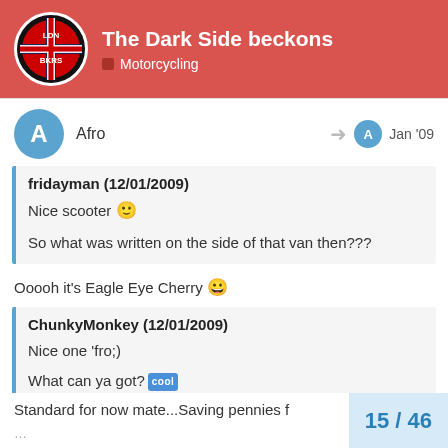The Dark Side beckons — Motorcycling
Afro — Jan '09
fridayman (12/01/2009)
Nice scooter 🙂
So what was written on the side of that van then???
Ooooh it's Eagle Eye Cherry 😀
ChunkyMonkey (12/01/2009)
Nice one 'fro;)
What can ya got? [cool]
Standard for now mate...Saving pennies f...
15 / 46